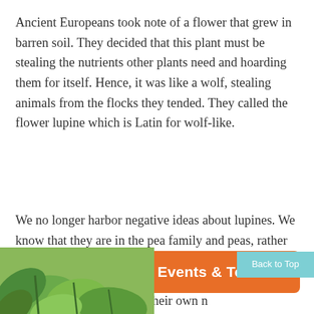Ancient Europeans took note of a flower that grew in barren soil. They decided that this plant must be stealing the nutrients other plants need and hoarding them for itself. Hence, it was like a wolf, stealing animals from the flocks they tended. They called the flower lupine which is Latin for wolf-like.
We no longer harbor negative ideas about lupines. We know that they are in the pea family and peas, rather than robbing the soil of nutrients are one of the few plants able to put nitrogen into the soil and so rem...heir own n...
[Figure (other): Orange button UI element labeled 'Events & Tours' with a calendar icon, overlapping the text below]
[Figure (other): Light teal 'Back to Top' button in the bottom right corner]
[Figure (photo): Partial photo of green leafy plants visible at the bottom left of the page]